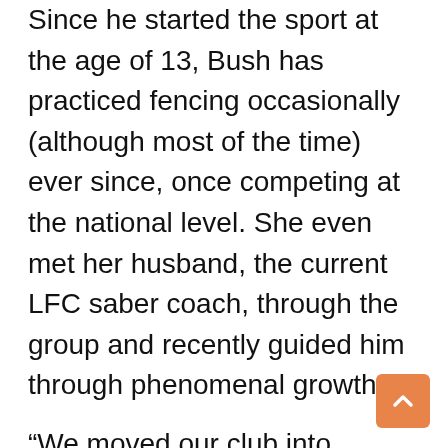Since he started the sport at the age of 13, Bush has practiced fencing occasionally (although most of the time) ever since, once competing at the national level. She even met her husband, the current LFC saber coach, through the group and recently guided him through phenomenal growth.
“We moved our club into Gateway Mall last year, and our classrooms are packed,” Bush said. “It’s heartwarming to see the club growing, succeeding and providing great opportunities for local children and adults.”
Whether it’s Filament, the Lincoln Fencing Club, or her own tribe, Amanda is a tireless advocate for her families, and she brings that dedication